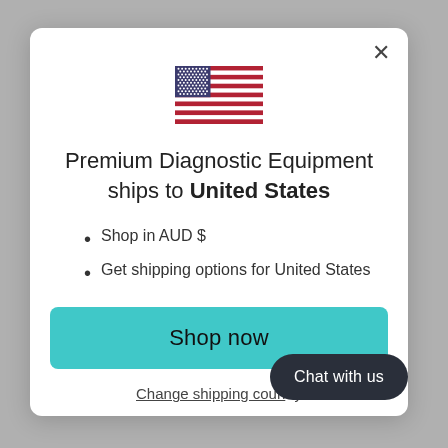[Figure (illustration): US flag icon]
Premium Diagnostic Equipment ships to United States
Shop in AUD $
Get shipping options for United States
Shop now
Change shipping country
Chat with us